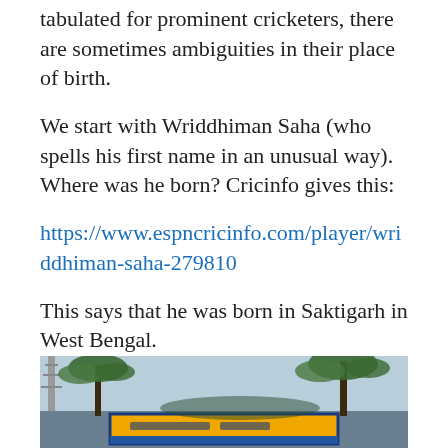tabulated for prominent cricketers, there are sometimes ambiguities in their place of birth.
We start with Wriddhiman Saha (who spells his first name in an unusual way). Where was he born? Cricinfo gives this:
https://www.espncricinfo.com/player/wriddhiman-saha-279810
This says that he was born in Saktigarh in West Bengal.
Most people who travel a bit will know of this Saktigarh:
[Figure (photo): Photograph showing palm trees and a yellow sign board with blue text, likely a railway station or town sign for Saktigarh]